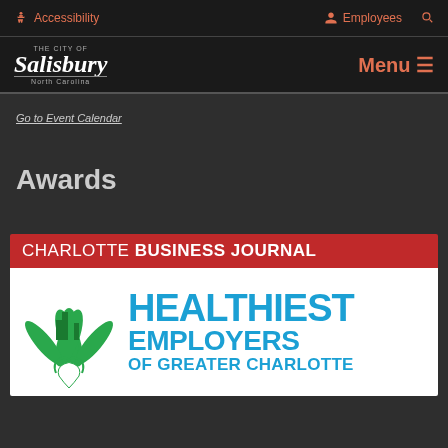Accessibility  Employees
[Figure (logo): City of Salisbury, North Carolina logo with cursive text and seal]
Go to Event Calendar
Awards
[Figure (logo): Charlotte Business Journal Healthiest Employers of Greater Charlotte award banner with red header and blue text on white background with green logo graphic]